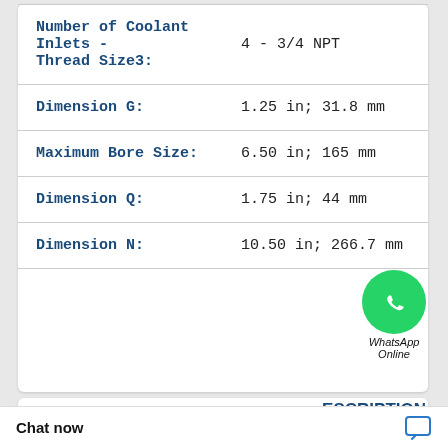| Property | Value |
| --- | --- |
| Number of Coolant Inlets - Thread Size3: | 4 - 3/4 NPT |
| Dimension G: | 1.25 in; 31.8 mm |
| Maximum Bore Size: | 6.50 in; 165 mm |
| Dimension Q: | 1.75 in; 44 mm |
| Dimension N: | 10.50 in; 266.7 mm |
EATON AIRFLEX 35CM500 146207 35CM500 146207 EATON AIRFLEX
DESCRIPTION
Chat now